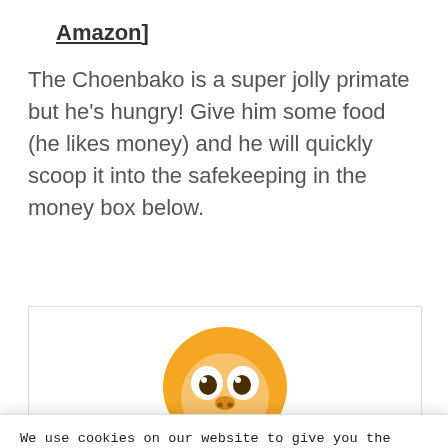Amazon]
The Choenbako is a super jolly primate but he's hungry! Give him some food (he likes money) and he will quickly scoop it into the safekeeping in the money box below.
[Figure (illustration): Orange cartoon primate character with large eyes, partially visible at the top of a bordered box]
We use cookies on our website to give you the most relevant experience by remembering your preferences and repeat visits. By clicking “Accept”, you consent to the use of ALL the cookies.
Do not sell my personal information.